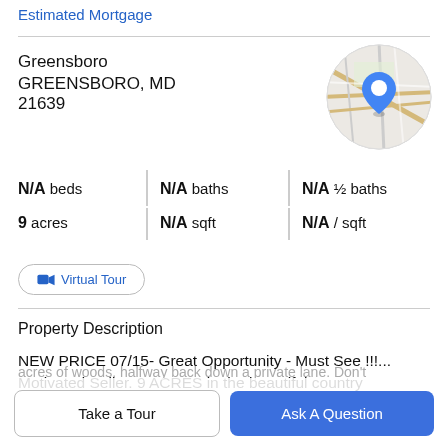Estimated Mortgage
Greensboro
GREENSBORO, MD 21639
[Figure (map): Circular map thumbnail showing Greensboro, MD area with a blue location pin in the center]
N/A beds | N/A baths | N/A ½ baths
9 acres | N/A sqft | N/A / sqft
Virtual Tour
Property Description
NEW PRICE 07/15- Great Opportunity - Must See !!!... Motivated Seller. 9 ACRES in the beautiful country
acres of woods. halfway back down a private lane. Don't